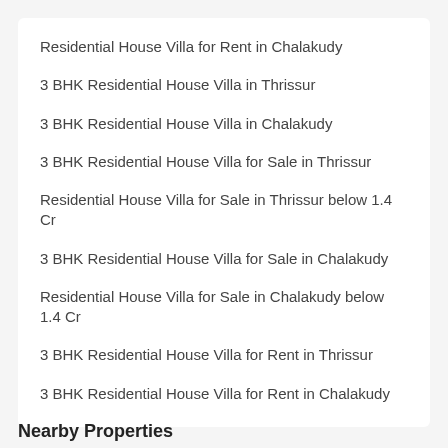Residential House Villa for Rent in Chalakudy
3 BHK Residential House Villa in Thrissur
3 BHK Residential House Villa in Chalakudy
3 BHK Residential House Villa for Sale in Thrissur
Residential House Villa for Sale in Thrissur below 1.4 Cr
3 BHK Residential House Villa for Sale in Chalakudy
Residential House Villa for Sale in Chalakudy below 1.4 Cr
3 BHK Residential House Villa for Rent in Thrissur
3 BHK Residential House Villa for Rent in Chalakudy
Nearby Properties